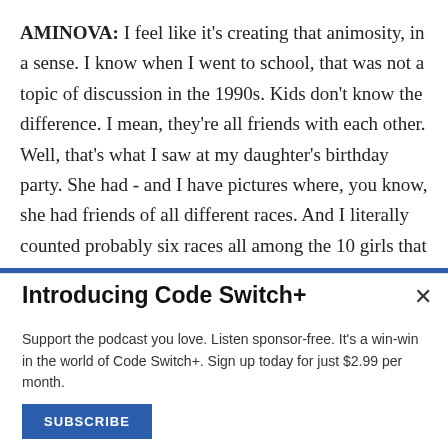AMINOVA: I feel like it's creating that animosity, in a sense. I know when I went to school, that was not a topic of discussion in the 1990s. Kids don't know the difference. I mean, they're all friends with each other. Well, that's what I saw at my daughter's birthday party. She had - and I have pictures where, you know, she had friends of all different races. And I literally counted probably six races all among the 10 girls that she invited for a birthday party. As a child, they're friends with everybody. All right. So we're creating
Introducing Code Switch+
Support the podcast you love. Listen sponsor-free. It's a win-win in the world of Code Switch+. Sign up today for just $2.99 per month.